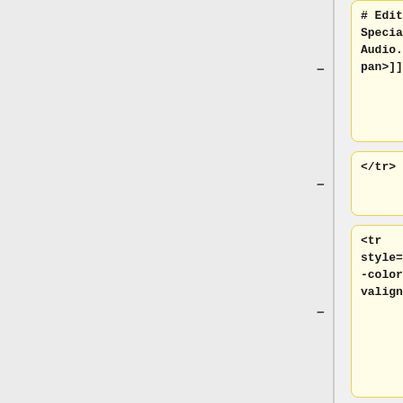# Edit > Remove Special > Silence Audio.">Silence</span>]]</td>
</tr>
<tr style="background-color:#ddeeff" valign="top">
<td width="25%">[[Auto Duck|<span title="Auto Duck reduces (ducks) the volume of one or more selected tracks whenever the volume of a specified "control track" reaches a particular threshold level. The effect can be used to create voice overs for